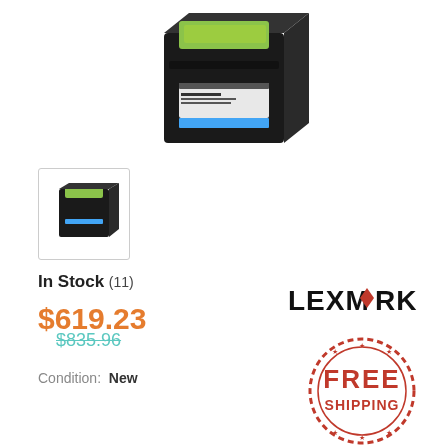[Figure (photo): Lexmark toner cartridge product photo showing a black cartridge with green/lime colored top tab and blue stripe label]
[Figure (photo): Small thumbnail image of the same Lexmark toner cartridge]
In Stock (11)
$619.23
$835.96
Condition:  New
[Figure (logo): Lexmark brand logo in black bold text with a red diamond shape]
[Figure (illustration): FREE SHIPPING stamp/seal in red with stars around the border]